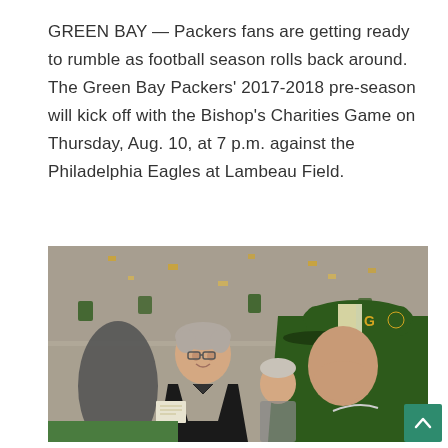GREEN BAY — Packers fans are getting ready to rumble as football season rolls back around. The Green Bay Packers' 2017-2018 pre-season will kick off with the Bishop's Charities Game on Thursday, Aug. 10, at 7 p.m. against the Philadelphia Eagles at Lambeau Field.
[Figure (photo): Two men shaking hands or greeting on a football sideline at Lambeau Field. The man on the right wears a green Green Bay Packers cap and green jacket. The man on the left is older with grey hair and glasses, wearing a black jacket and holding papers. Crowd visible in background.]